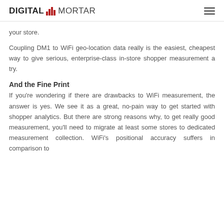DIGITAL MORTAR
your store.
Coupling DM1 to WiFi geo-location data really is the easiest, cheapest way to give serious, enterprise-class in-store shopper measurement a try.
And the Fine Print
If you're wondering if there are drawbacks to WiFi measurement, the answer is yes. We see it as a great, no-pain way to get started with shopper analytics. But there are strong reasons why, to get really good measurement, you'll need to migrate at least some stores to dedicated measurement collection. WiFi's positional accuracy suffers in comparison to